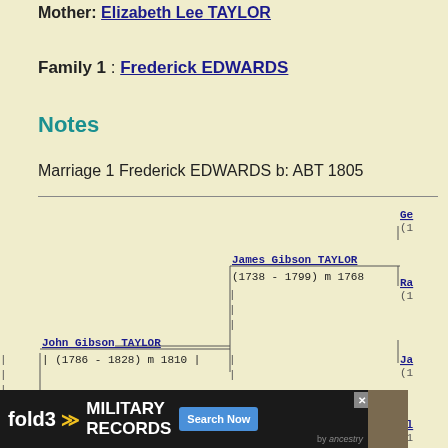Mother: Elizabeth Lee TAYLOR
Family 1 : Frederick EDWARDS
Notes
Marriage 1 Frederick EDWARDS b: ABT 1805
[Figure (other): Genealogy pedigree chart showing: John Gibson TAYLOR (1786-1828) m 1810, James Gibson TAYLOR (1738-1799) m 1768, Anne PENDLETON (1742-1815) m 1768, and partial names Ge-(1, Ra-(1, Ja-(1, El-(1, and --Anne at bottom]
[Figure (other): fold3 ancestry Military Records advertisement banner]